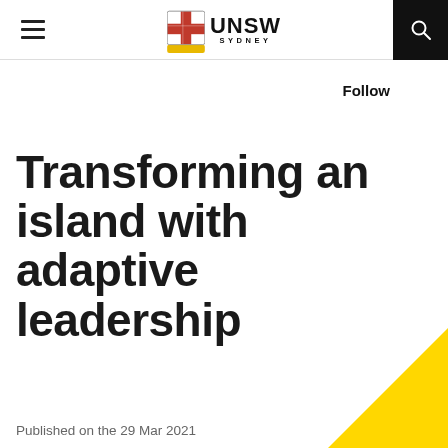UNSW SYDNEY
Follow
Transforming an island with adaptive leadership
Published on the 29 Mar 2021